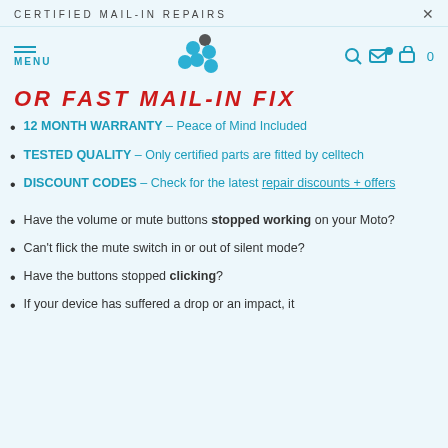CERTIFIED MAIL-IN REPAIRS
OR FAST MAIL-IN FIX
12 MONTH WARRANTY - Peace of Mind Included
TESTED QUALITY - Only certified parts are fitted by celltech
DISCOUNT CODES - Check for the latest repair discounts + offers
Have the volume or mute buttons stopped working on your Moto?
Can't flick the mute switch in or out of silent mode?
Have the buttons stopped clicking?
If your device has suffered a drop or an impact, it